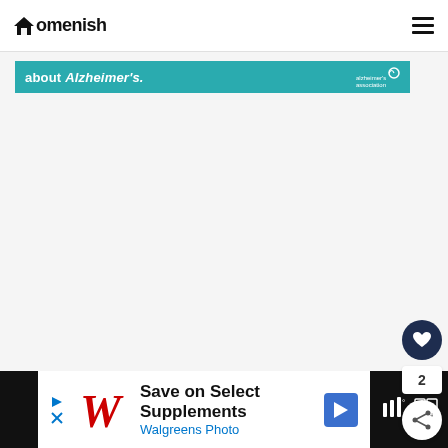Homenish
[Figure (screenshot): Teal advertisement banner for Alzheimer's Association with text 'about Alzheimer's.' and Alzheimer's Association logo on the right]
[Figure (screenshot): Bottom advertisement banner: Save on Select Supplements - Walgreens Photo, with Walgreens cursive logo and navigation arrow icon]